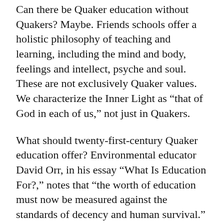Can there be Quaker education without Quakers? Maybe. Friends schools offer a holistic philosophy of teaching and learning, including the mind and body, feelings and intellect, psyche and soul. These are not exclusively Quaker values. We characterize the Inner Light as “that of God in each of us,” not just in Quakers.
What should twenty-first-century Quaker education offer? Environmental educator David Orr, in his essay “What Is Education For?,” notes that “the worth of education must now be measured against the standards of decency and human survival.”
We need supportive relationships, nurturing community, a curriculum that teaches students how to learn, academic skills, emotional and moral development, and values of diversity and justice. Quakers hold there is goodness in each of us, and